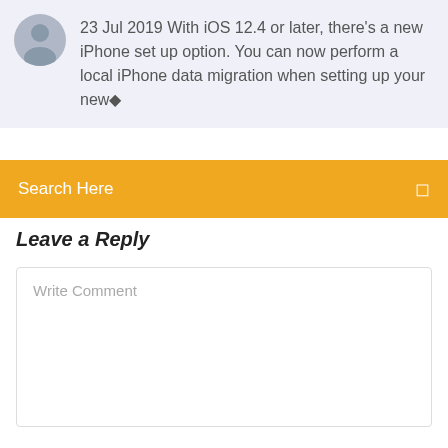23 Jul 2019 With iOS 12.4 or later, there's a new iPhone set up option. You can now perform a local iPhone data migration when setting up your new◆
Search Here
Leave a Reply
Write Comment